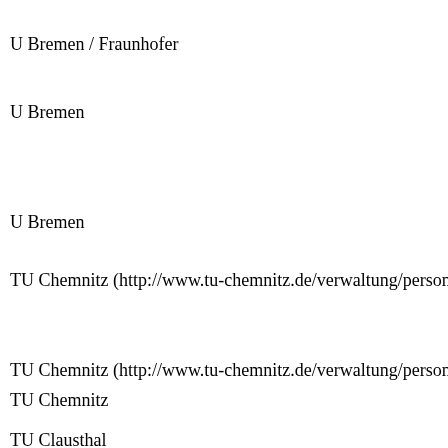U Bremen / Fraunhofer
U Bremen
U Bremen
TU Chemnitz (http://www.tu-chemnitz.de/verwaltung/personal/stellen
TU Chemnitz (http://www.tu-chemnitz.de/verwaltung/personal/stellen
TU Chemnitz
TU Clausthal